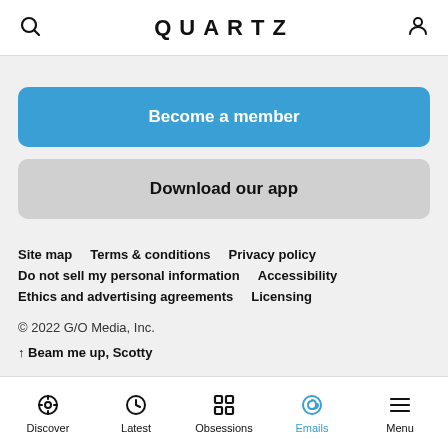QUARTZ
Become a member
Download our app
Site map   Terms & conditions   Privacy policy
Do not sell my personal information   Accessibility
Ethics and advertising agreements   Licensing
© 2022 G/O Media, Inc.
↑ Beam me up, Scotty
Discover   Latest   Obsessions   Emails   Menu